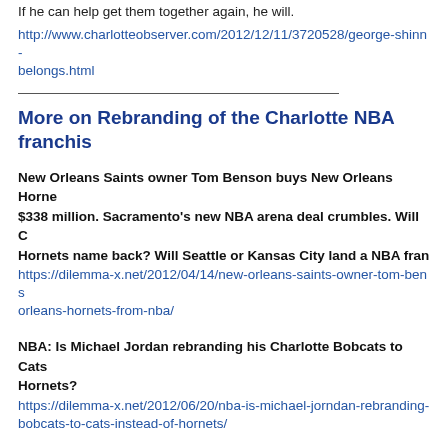If he can help get them together again, he will.
http://www.charlotteobserver.com/2012/12/11/3720528/george-shinn-belongs.html
More on Rebranding of the Charlotte NBA franchise
New Orleans Saints owner Tom Benson buys New Orleans Hornets for $338 million. Sacramento's new NBA arena deal crumbles. Will Charlotte get Hornets name back? Will Seattle or Kansas City land a NBA franchise?
https://dilemma-x.net/2012/04/14/new-orleans-saints-owner-tom-benson-buys-new-orleans-hornets-from-nba/
NBA: Is Michael Jordan rebranding his Charlotte Bobcats to Cats or Hornets?
https://dilemma-x.net/2012/06/20/nba-is-michael-jorndan-rebranding-his-bobcats-to-cats-instead-of-hornets/